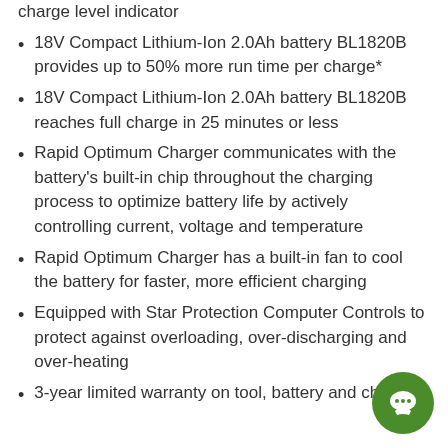charge level indicator
18V Compact Lithium-Ion 2.0Ah battery BL1820B provides up to 50% more run time per charge*
18V Compact Lithium-Ion 2.0Ah battery BL1820B reaches full charge in 25 minutes or less
Rapid Optimum Charger communicates with the battery's built-in chip throughout the charging process to optimize battery life by actively controlling current, voltage and temperature
Rapid Optimum Charger has a built-in fan to cool the battery for faster, more efficient charging
Equipped with Star Protection Computer Controls to protect against overloading, over-discharging and over-heating
3-year limited warranty on tool, battery and charger